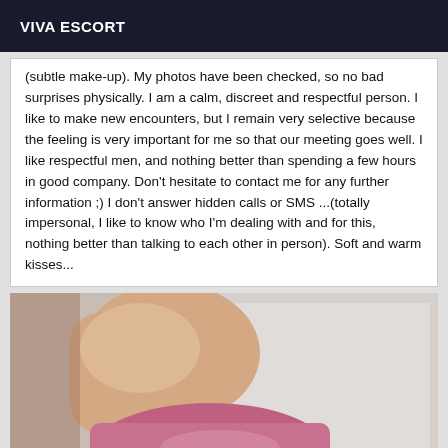VIVA ESCORT
(subtle make-up). My photos have been checked, so no bad surprises physically. I am a calm, discreet and respectful person. I like to make new encounters, but I remain very selective because the feeling is very important for me so that our meeting goes well. I like respectful men, and nothing better than spending a few hours in good company. Don't hesitate to contact me for any further information ;) I don't answer hidden calls or SMS ...(totally impersonal, I like to know who I'm dealing with and for this, nothing better than talking to each other in person). Soft and warm kisses...
[Figure (photo): Partial body photo showing skin and pink clothing item against white bed linen background]